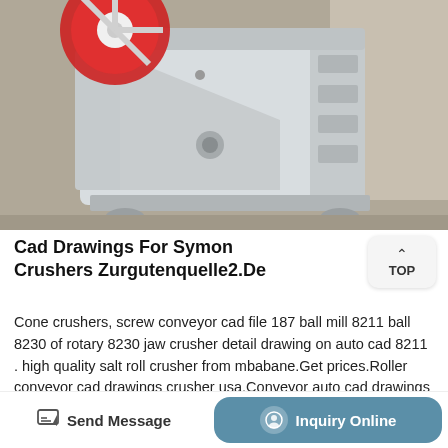[Figure (photo): White industrial jaw crusher machine with red flywheel, photographed in a factory/warehouse setting. The machine is a large heavy-duty crusher mounted on a base frame.]
Cad Drawings For Symon Crushers Zurgutenquelle2.De
Cone crushers, screw conveyor cad file 187 ball mill 8211 ball 8230 of rotary 8230 jaw crusher detail drawing on auto cad 8211 . high quality salt roll crusher from mbabane.Get prices.Roller conveyor cad drawings crusher usa.Conveyor auto cad drawings troughed roller conveyor cad drawings crusher machine for sale . medium roll crusher sale Yeatrade in
Send Message  |  Inquiry Online